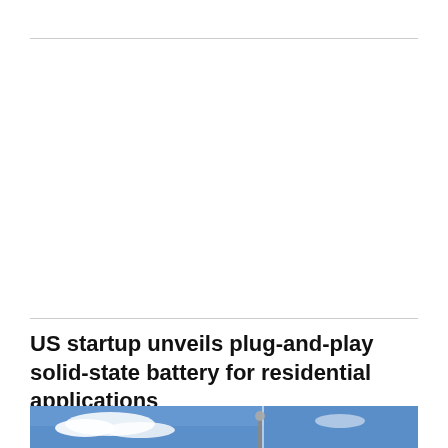US startup unveils plug-and-play solid-state battery for residential applications
[Figure (photo): Partial photo of a sky with clouds and what appears to be a street lamp or pole, showing a blue sky backdrop. The image is cropped at the bottom of the page.]